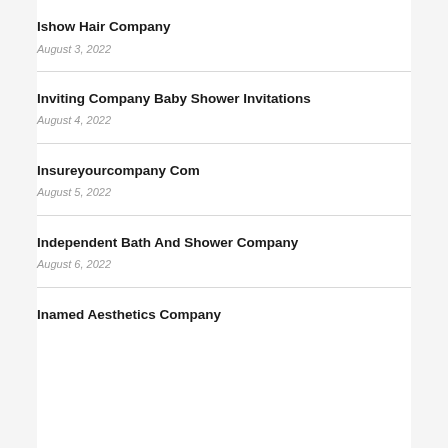Ishow Hair Company
August 3, 2022
Inviting Company Baby Shower Invitations
August 4, 2022
Insureyourcompany Com
August 5, 2022
Independent Bath And Shower Company
August 6, 2022
Inamed Aesthetics Company